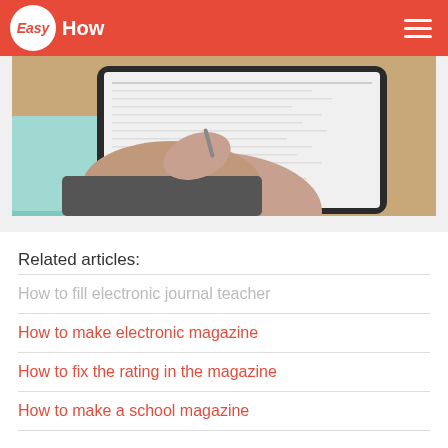Easy How
[Figure (photo): A hand holding a stylus over a tablet showing a document/spreadsheet, placed on a wooden desk with a teal notebook nearby.]
Related articles:
How to fill electronic journal teacher
How to make electronic magazine
How to fix the rating in the magazine
How to make a school magazine
What are the logs
Today there are several electronic journals of